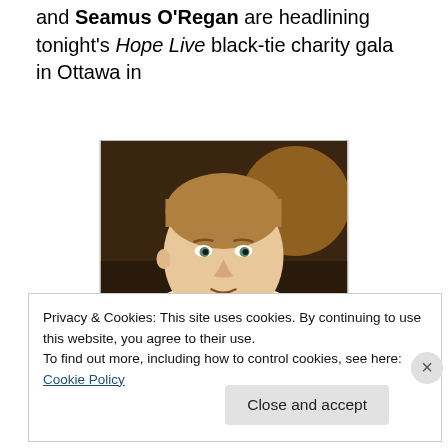and Seamus O'Regan are headlining tonight's Hope Live black-tie charity gala in Ottawa in
[Figure (photo): Portrait photo of a man with light brown hair, wearing a white dress shirt and dark blue patterned tie, against a warm dark background.]
Privacy & Cookies: This site uses cookies. By continuing to use this website, you agree to their use.
To find out more, including how to control cookies, see here: Cookie Policy